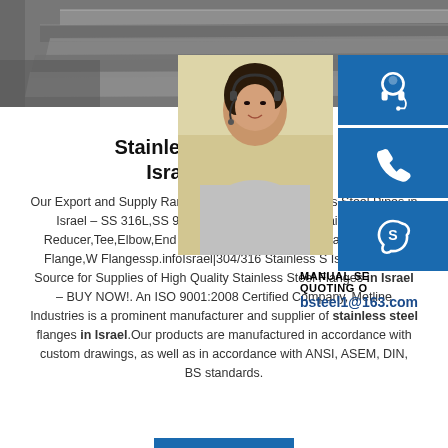[Figure (photo): Stack of stainless steel plates photographed from above, grey metallic surface]
[Figure (photo): Woman wearing headset, customer service representative, with contact information overlay]
Stainless Steel Pipes S Israel,Seamless/
Our Export and Supply Range for Indus Israel.Stainless Steel Pipes in Israel – SS 316L,SS 904L,Duplex Steel Pipes; Stainl Israel – Reducer,Tee,Elbow,End Caps in Steel Flanges in Israel – Slip On Flange,W Flangessp.infoIsrael|304/316 Stainless S IsraelYour #1 Source for Supplies of High Quality Stainless Steel Flanges in Israel – BUY NOW!. An ISO 9001:2008 Certified Company, Metline Industries is a prominent manufacturer and supplier of stainless steel flanges in Israel.Our products are manufactured in accordance with custom drawings, as well as in accordance with ANSI, ASEM, DIN, BS standards.